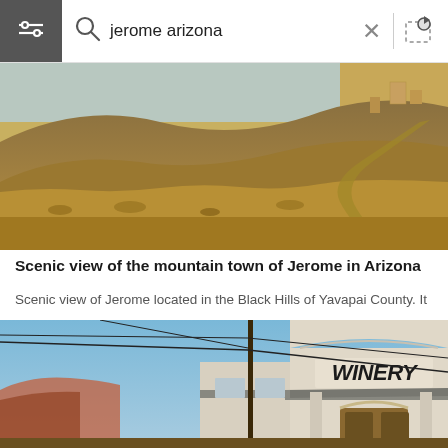[Figure (screenshot): Mobile image search interface showing search bar with 'jerome arizona' query, two photos of Jerome Arizona — first showing a scenic mountain hillside town view, second showing a winery building facade with blue sky background.]
Scenic view of the mountain town of Jerome in Arizona
Scenic view of Jerome located in the Black Hills of Yavapai County. It ...